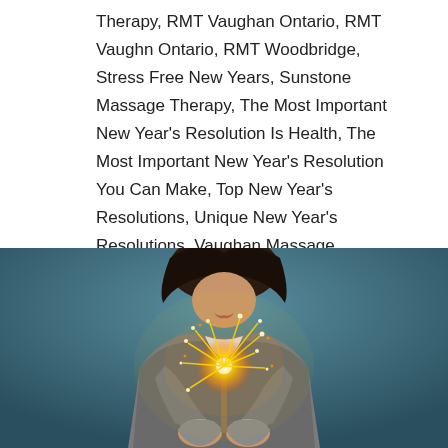Therapy, RMT Vaughan Ontario, RMT Vaughn Ontario, RMT Woodbridge, Stress Free New Years, Sunstone Massage Therapy, The Most Important New Year's Resolution Is Health, The Most Important New Year's Resolution You Can Make, Top New Year's Resolutions, Unique New Year's Resolutions, Vaughan Massage
[Figure (photo): A person holding a sparkler with glowing light, photographed against a blurred dark teal/blue background. The subject is wearing a grey knit sweater and extending their hands toward the camera holding the lit sparkler.]